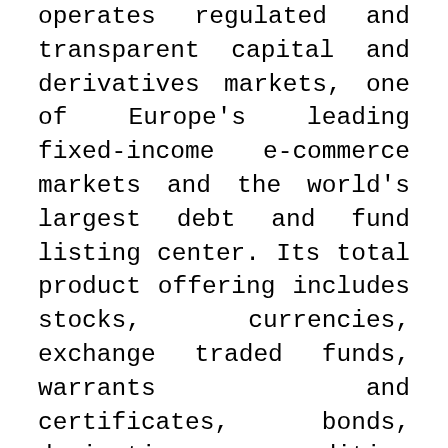operates regulated and transparent capital and derivatives markets, one of Europe's leading fixed-income e-commerce markets and the world's largest debt and fund listing center. Its total product offering includes stocks, currencies, exchange traded funds, warrants and certificates, bonds, derivatives, commodities and indices. The Group provides a multi-asset clearing house through Euronext Clearing, as well as custody and settlement services through Euronext Securities's central securities depositories in Denmark, Italy, Norway and Portugal. Euronext also leverages its expertise in market management by providing technologies and managed services to third parties. In addition to its main regulated market, Euronext also